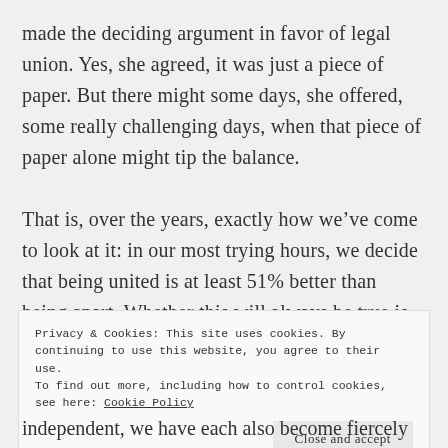made the deciding argument in favor of legal union. Yes, she agreed, it was just a piece of paper. But there might some days, she offered, some really challenging days, when that piece of paper alone might tip the balance.

That is, over the years, exactly how we've come to look at it: in our most trying hours, we decide that being united is at least 51% better than being apart. Whether this will always be true is
Privacy & Cookies: This site uses cookies. By continuing to use this website, you agree to their use.
To find out more, including how to control cookies, see here: Cookie Policy
independent, we have each also become fiercely